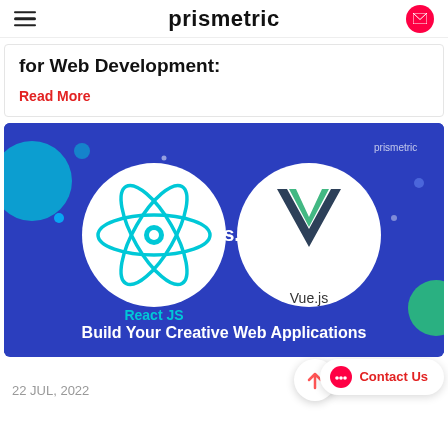prismetric
for Web Development:
Read More
[Figure (illustration): Prismetric article banner: React JS vs Vue.js - Build Your Creative Web Applications. Dark blue background with React JS logo (cyan atomic symbol) on left and Vue.js logo (green V) on right, 'vs.' text in center, tagline at bottom.]
22 JUL, 2022